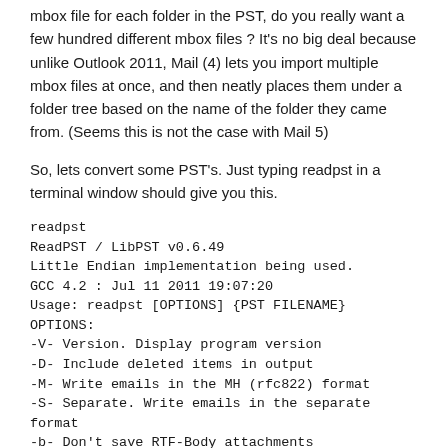mbox file for each folder in the PST, do you really want a few hundred different mbox files ? It's no big deal because unlike Outlook 2011, Mail (4) lets you import multiple mbox files at once, and then neatly places them under a folder tree based on the name of the folder they came from. (Seems this is not the case with Mail 5)
So, lets convert some PST's. Just typing readpst in a terminal window should give you this.
readpst
ReadPST / LibPST v0.6.49
Little Endian implementation being used.
GCC 4.2 : Jul 11 2011 19:07:20
Usage: readpst [OPTIONS] {PST FILENAME}
OPTIONS:
-V- Version. Display program version
-D- Include deleted items in output
-M- Write emails in the MH (rfc822) format
-S- Separate. Write emails in the separate format
-b- Don't save RTF-Body attachments
-c[v|l]- Set the Contact output mode. -cv = VCard, -cl = EMail list
-d – Debug to file.
-e- As with -M, but include extensions on output files
-h- Help. This screen
-i – Number of parallel jobs to run